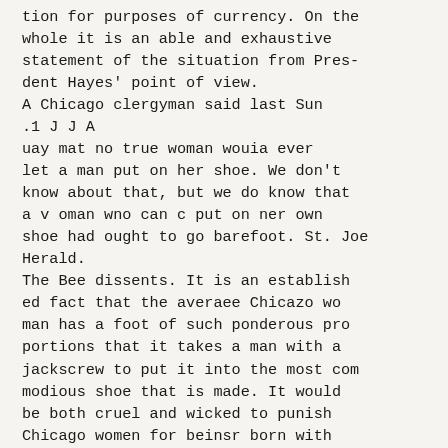tion for purposes of currency. On the whole it is an able and exhaustive statement of the situation from Pres- dent Hayes' point of view.
A Chicago clergyman said last Sun .1 J J A
uay mat no true woman wouia ever let a man put on her shoe. We don't know about that, but we do know that a v oman wno can c put on ner own shoe had ought to go barefoot. St. Joe Herald.
The Bee dissents. It is an establish ed fact that the averaee Chicazo wo man has a foot of such ponderous pro portions that it takes a man with a jackscrew to put it into the most com modious shoe that is made. It would be both cruel and wicked to punish Chicago women for beinsr born with